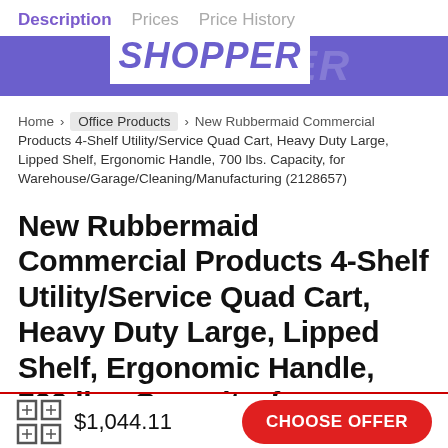Description  Prices  Price History
Home > Office Products > New Rubbermaid Commercial Products 4-Shelf Utility/Service Quad Cart, Heavy Duty Large, Lipped Shelf, Ergonomic Handle, 700 lbs. Capacity, for Warehouse/Garage/Cleaning/Manufacturing (2128657)
New Rubbermaid Commercial Products 4-Shelf Utility/Service Quad Cart, Heavy Duty Large, Lipped Shelf, Ergonomic Handle, 700 lbs. Capacity, for Warehouse/Garage/Cleaning/Manufacturing (2128657)
$1,044.11  CHOOSE OFFER